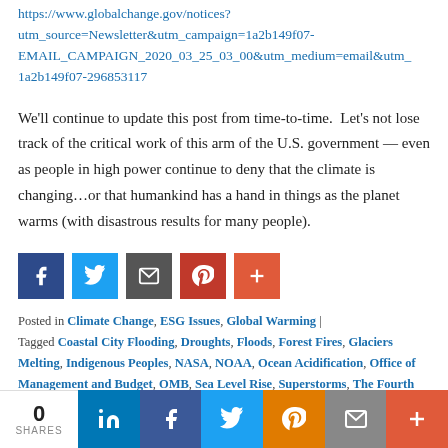https://www.globalchange.gov/notices?utm_source=Newsletter&utm_campaign=1a2b149f07-EMAIL_CAMPAIGN_2020_03_25_03_00&utm_medium=email&utm_1a2b149f07-296853117
We'll continue to update this post from time-to-time.  Let's not lose track of the critical work of this arm of the U.S. government — even as people in high power continue to deny that the climate is changing…or that humankind has a hand in things as the planet warms (with disastrous results for many people).
[Figure (infographic): Row of five social share buttons: Facebook (dark blue), Twitter (light blue), Email (dark gray), Pinterest (red), Plus/More (orange-red)]
Posted in Climate Change, ESG Issues, Global Warming | Tagged Coastal City Flooding, Droughts, Floods, Forest Fires, Glaciers Melting, Indigenous Peoples, NASA, NOAA, Ocean Acidification, Office of Management and Budget, OMB, Sea Level Rise, Superstorms, The Fourth Official "Climate Science Special Report" by the U.S.
[Figure (infographic): Bottom share bar with 0 SHARES count on the left, followed by LinkedIn (blue), Facebook (dark blue), Twitter (light blue), Pinterest (orange), Email (gray), and More/Plus (red-orange) buttons]